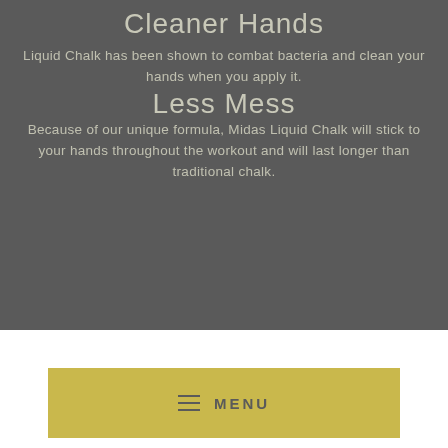Cleaner Hands
Liquid Chalk has been shown to combat bacteria and clean your hands when you apply it.
Less Mess
Because of our unique formula, Midas Liquid Chalk will stick to your hands throughout the workout and will last longer than traditional chalk.
MENU